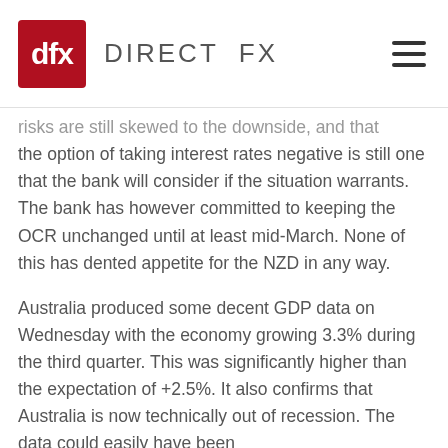dfx DIRECT FX
risks are still skewed to the downside, and that the option of taking interest rates negative is still one that the bank will consider if the situation warrants. The bank has however committed to keeping the OCR unchanged until at least mid-March. None of this has dented appetite for the NZD in any way.
Australia produced some decent GDP data on Wednesday with the economy growing 3.3% during the third quarter. This was significantly higher than the expectation of +2.5%. It also confirms that Australia is now technically out of recession. The data could easily have been